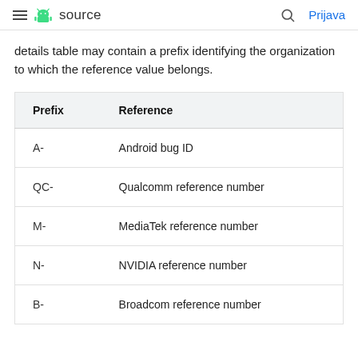≡ 🤖 source  🔍  Prijava
details table may contain a prefix identifying the organization to which the reference value belongs.
| Prefix | Reference |
| --- | --- |
| A- | Android bug ID |
| QC- | Qualcomm reference number |
| M- | MediaTek reference number |
| N- | NVIDIA reference number |
| B- | Broadcom reference number |